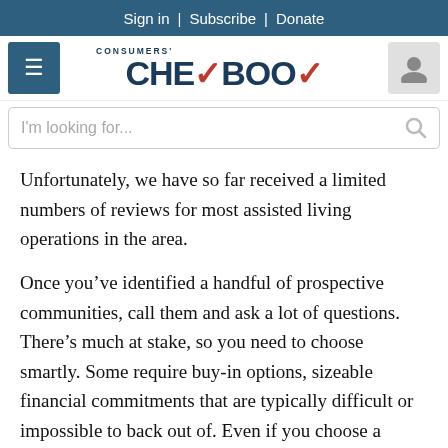Sign in | Subscribe | Donate
[Figure (logo): Consumers' Checkbook logo with red checkmark]
I'm looking for...
Unfortunately, we have so far received a limited numbers of reviews for most assisted living operations in the area.
Once you’ve identified a handful of prospective communities, call them and ask a lot of questions. There’s much at stake, so you need to choose smartly. Some require buy-in options, sizeable financial commitments that are typically difficult or impossible to back out of. Even if you choose a residence that charges only monthly rent, there are usually a lot of upfront